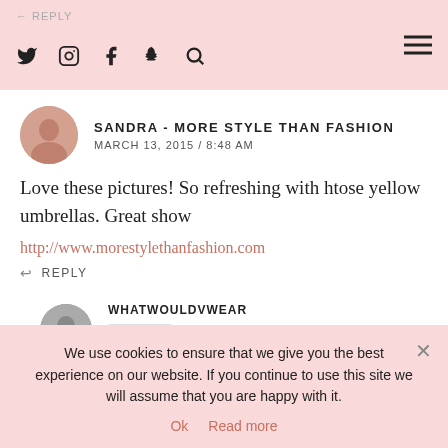← REPLY  [social icons: twitter, instagram, facebook, snapchat, search]  [hamburger menu]
SANDRA - MORE STYLE THAN FASHION
MARCH 13, 2015 / 8:48 AM
Love these pictures! So refreshing with htose yellow umbrellas. Great show
http://www.morestylethanfashion.com
↩ REPLY
WHATWOULDVWEAR
AUTHOR
MARCH 13, 2015 / 9:29 AM
Thanks love! Happy Weekend love...
We use cookies to ensure that we give you the best experience on our website. If you continue to use this site we will assume that you are happy with it.
Ok   Read more